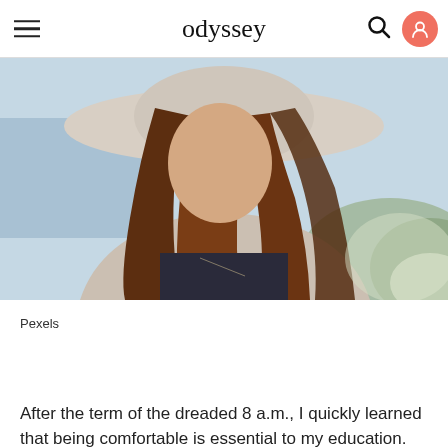odyssey
[Figure (photo): A woman with long auburn/brown hair wearing a wide-brim hat and light jacket, photographed outdoors near water and foliage.]
Pexels
After the term of the dreaded 8 a.m., I quickly learned that being comfortable is essential to my education.